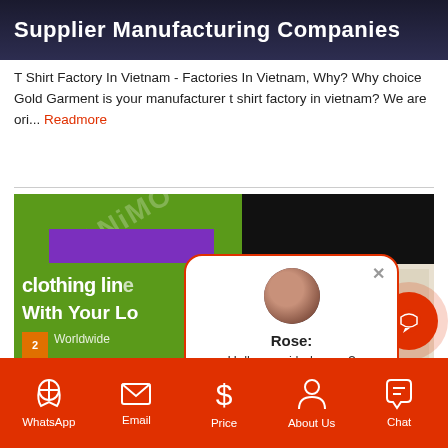[Figure (screenshot): Dark banner with white bold text reading 'Supplier Manufacturing Companies']
T Shirt Factory In Vietnam - Factories In Vietnam, Why? Why choice Gold Garment is your manufacturer t shirt factory in vietnam? We are ori... Readmore
[Figure (screenshot): Composite image banner showing clothing line advertisement on green background with purple bar, text 'clothing line', 'With Your L...', 'Top 10 Garme...' and right side showing sewing/design pattern on light background. Chat popup overlay with avatar of Rose saying 'Hello, can i help you ?']
Top 10 Garments Factory In The World - Top 10 Garment Manufacturing Countries 2018, Why? Why choice G...ent your manufacturer top... Readmore
WhatsApp  Email  Price  About Us  Chat